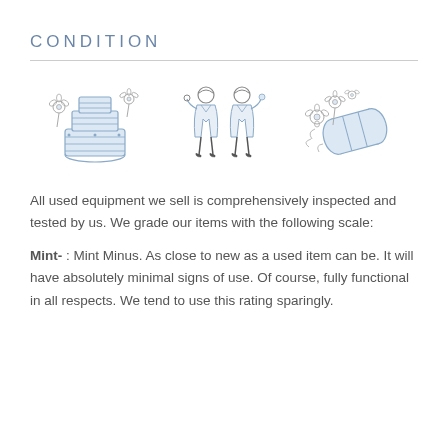CONDITION
[Figure (illustration): Three whimsical pen-and-ink illustrations: left shows a decorated cake or lantern with flowers; center shows two scientists or inspectors in lab coats; right shows a barrel tipped on its side with flowers spilling out.]
All used equipment we sell is comprehensively inspected and tested by us. We grade our items with the following scale:
Mint- : Mint Minus. As close to new as a used item can be. It will have absolutely minimal signs of use. Of course, fully functional in all respects. We tend to use this rating sparingly.